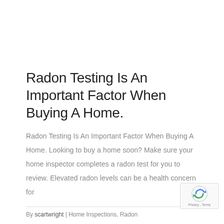Radon Testing Is An Important Factor When Buying A Home.
Radon Testing Is An Important Factor When Buying A Home. Looking to buy a home soon? Make sure your home inspector completes a radon test for you to review. Elevated radon levels can be a health concern for
By scartwright | Home Inspections, Radon